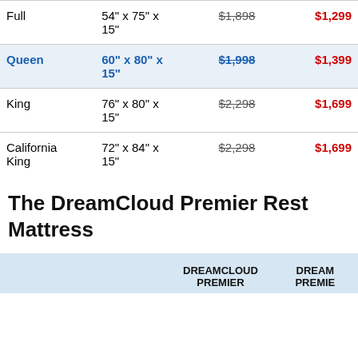| Size | Dimensions | Original Price | Sale Price |
| --- | --- | --- | --- |
| Full | 54" x 75" x 15" | $1,898 | $1,299 |
| Queen | 60" x 80" x 15" | $1,998 | $1,399 |
| King | 76" x 80" x 15" | $2,298 | $1,699 |
| California King | 72" x 84" x 15" | $2,298 | $1,699 |
The DreamCloud Premier Rest Mattress
|  | DREAMCLOUD PREMIER | DREAMCLOUD PREMIER REST |
| --- | --- | --- |